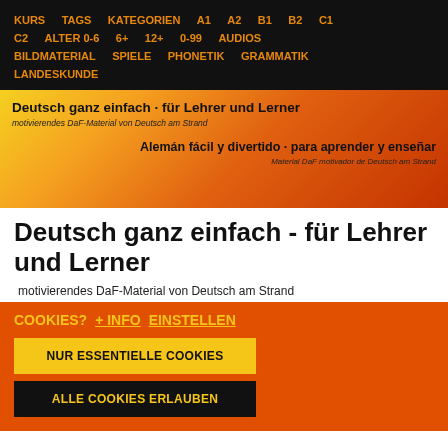KURS  TAGS  KATEGORIEN  A1  A2  B1  B2  C1  C2  ALTER 0-6  6+  12+  0-99  AUDIOS  BILDMATERIAL  SPIELE  PHONETIK  GRAMMATIK  LANDESKUNDE
[Figure (illustration): Banner with gradient from yellow to orange-red. Left side: 'Deutsch ganz einfach - für Lehrer und Lerner' with subtitle 'motivierendes DaF-Material von Deutsch am Strand'. Right side: 'Alemán fácil y divertido - para aprender y enseñar' with subtitle 'Material DaF motivador de Deutsch am Strand'.]
Deutsch ganz einfach - für Lehrer und Lerner
motivierendes DaF-Material von Deutsch am Strand
COOKIES?  + INFO  EINSTELLEN
NUR ESSENTIELLE COOKIES
ALLE COOKIES ERLAUBEN